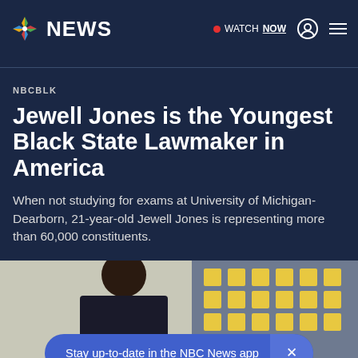NBC NEWS — WATCH NOW
NBCBLK
Jewell Jones is the Youngest Black State Lawmaker in America
When not studying for exams at University of Michigan-Dearborn, 21-year-old Jewell Jones is representing more than 60,000 constituents.
[Figure (photo): Photo of Jewell Jones, a young Black man, in front of a board with yellow sticky notes]
Stay up-to-date in the NBC News app